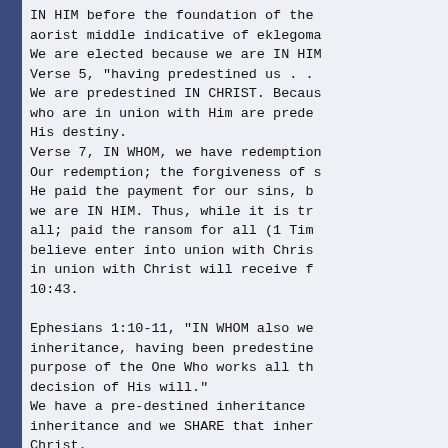IN HIM before the foundation of the aorist middle indicative of eklegoma We are elected because we are IN HIM Verse 5, "having predestined us . . We are predestined IN CHRIST. Because who are in union with Him are prede His destiny.
Verse 7, IN WHOM, we have redemption Our redemption; the forgiveness of s He paid the payment for our sins, b we are IN HIM. Thus, while it is tr all; paid the ransom for all (1 Tim believe enter into union with Chris in union with Christ will receive f 10:43.

Ephesians 1:10-11, "IN WHOM also we inheritance, having been predestine purpose of the One Who works all th decision of His will."
We have a pre-destined inheritance inheritance and we SHARE that inher Christ.